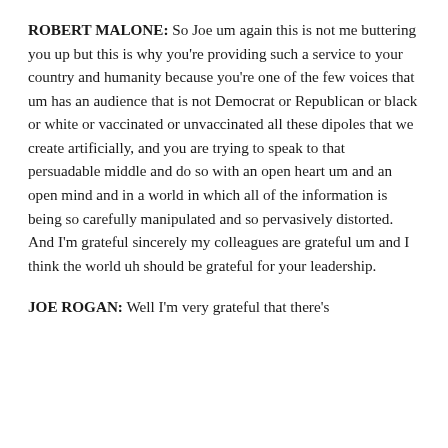ROBERT MALONE: So Joe um again this is not me buttering you up but this is why you're providing such a service to your country and humanity because you're one of the few voices that um has an audience that is not Democrat or Republican or black or white or vaccinated or unvaccinated all these dipoles that we create artificially, and you are trying to speak to that persuadable middle and do so with an open heart um and an open mind and in a world in which all of the information is being so carefully manipulated and so pervasively distorted. And I'm grateful sincerely my colleagues are grateful um and I think the world uh should be grateful for your leadership.
JOE ROGAN: Well I'm very grateful that there's